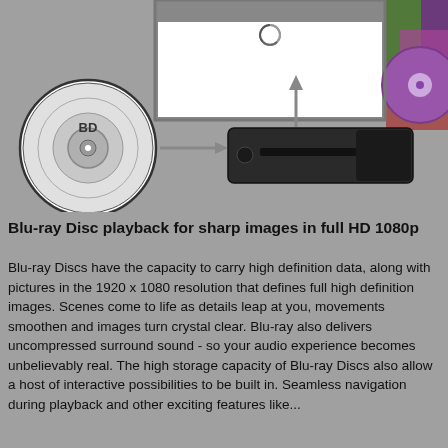[Figure (illustration): Diagram showing Blu-ray Disc playback: a BD disc on the left with an arrow pointing to a Blu-ray player/drive in the center, an upward arrow pointing to a TV/monitor display above showing a butterfly image. A colorful disc is visible on the right.]
Blu-ray Disc playback for sharp images in full HD 1080p
Blu-ray Discs have the capacity to carry high definition data, along with pictures in the 1920 x 1080 resolution that defines full high definition images. Scenes come to life as details leap at you, movements smoothen and images turn crystal clear. Blu-ray also delivers uncompressed surround sound - so your audio experience becomes unbelievably real. The high storage capacity of Blu-ray Discs also allow a host of interactive possibilities to be built in. Seamless navigation during playback and other exciting features like...